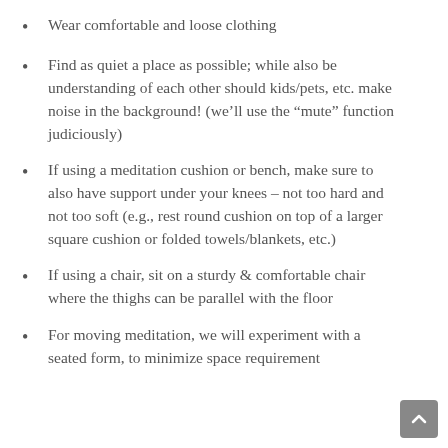Wear comfortable and loose clothing
Find as quiet a place as possible; while also be understanding of each other should kids/pets, etc. make noise in the background! (we’ll use the “mute” function judiciously)
If using a meditation cushion or bench, make sure to also have support under your knees – not too hard and not too soft (e.g., rest round cushion on top of a larger square cushion or folded towels/blankets, etc.)
If using a chair, sit on a sturdy & comfortable chair where the thighs can be parallel with the floor
For moving meditation, we will experiment with a seated form, to minimize space requirement